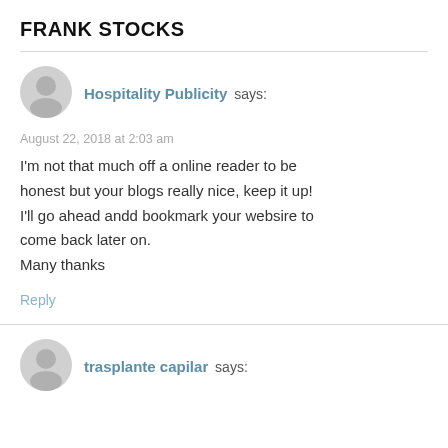FRANK STOCKS
Hospitality Publicity says:
August 22, 2018 at 2:03 am
I'm not that much off a online reader to be honest but your blogs really nice, keep it up! I'll go ahead andd bookmark your websire to come back later on.
Many thanks
Reply
trasplante capilar says: